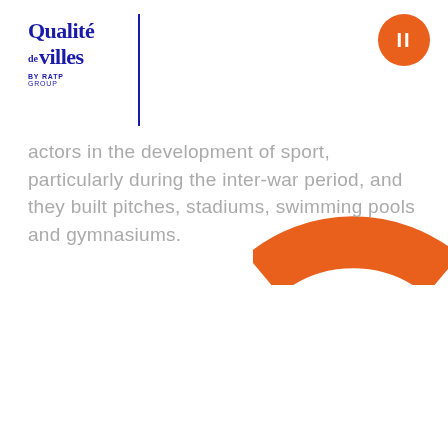[Figure (logo): Qualité de villes by RATP Group logo with blue text and vertical line divider]
[Figure (illustration): Orange semicircle arch decorative element in top right, with orange circle containing page number II]
actors in the development of sport, particularly during the inter-war period, and they built pitches, stadiums, swimming pools and gymnasiums.